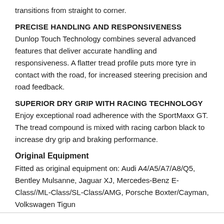transitions from straight to corner.
PRECISE HANDLING AND RESPONSIVENESS
Dunlop Touch Technology combines several advanced features that deliver accurate handling and responsiveness. A flatter tread profile puts more tyre in contact with the road, for increased steering precision and road feedback.
SUPERIOR DRY GRIP WITH RACING TECHNOLOGY
Enjoy exceptional road adherence with the SportMaxx GT. The tread compound is mixed with racing carbon black to increase dry grip and braking performance.
Original Equipment
Fitted as original equipment on: Audi A4/A5/A7/A8/Q5, Bentley Mulsanne, Jaguar XJ, Mercedes-Benz E-Class//ML-Class/SL-Class/AMG, Porsche Boxter/Cayman, Volkswagen Tigun